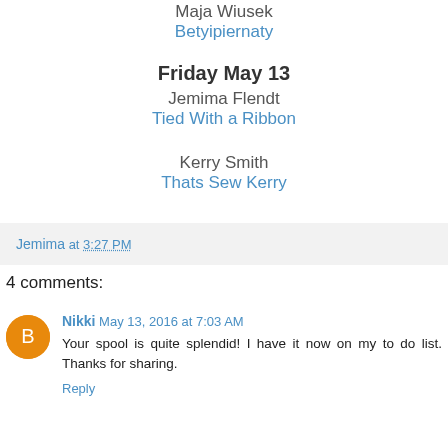Maja Wiusek
Betyipiernaty
Friday May 13
Jemima Flendt
Tied With a Ribbon
Kerry Smith
Thats Sew Kerry
Jemima at 3:27 PM
4 comments:
Nikki May 13, 2016 at 7:03 AM
Your spool is quite splendid! I have it now on my to do list. Thanks for sharing.
Reply